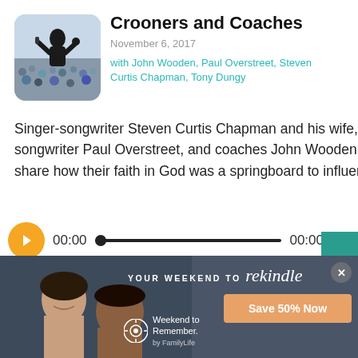[Figure (photo): Concert performer with back to camera, crowd in background, rounded square thumbnail]
Crooners and Coaches
November 6, 2017
with John Wooden, Paul Overstreet, Steven Curtis Chapman, Tony Dungy
Singer-songwriter Steven Curtis Chapman and his wife, Mary Beth, songwriter Paul Overstreet, and coaches John Wooden and Tony Dungy share how their faith in God was a springboard to influential platforms.
[Figure (screenshot): Audio player with play button, time 00:00, progress bar, end time 00:00]
[Figure (photo): Weekend to Remember advertisement banner with couple, Save 50% Now button, rekindle text]